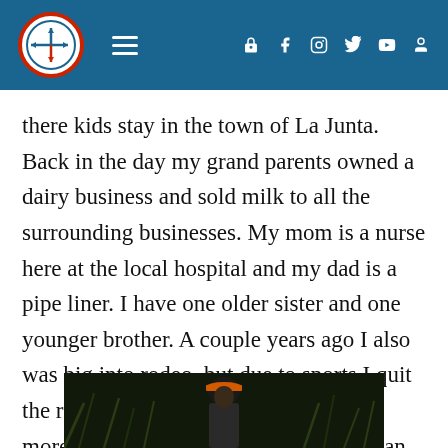Navigation header with logo, hamburger menu, and social icons
there kids stay in the town of La Junta. Back in the day my grand parents owned a dairy business and sold milk to all the surrounding businesses. My mom is a nurse here at the local hospital and my dad is a pipe liner. I have one older sister and one younger brother. A couple years ago I also was big into rodeo, but due to sports I quit the rodeo business, and started playing more and more sports. In the future I plan on attending a four year university. I am also am a qualifier for national
[Figure (photo): A person wearing an orange cap photographed at night outdoors among tall grass or reeds]